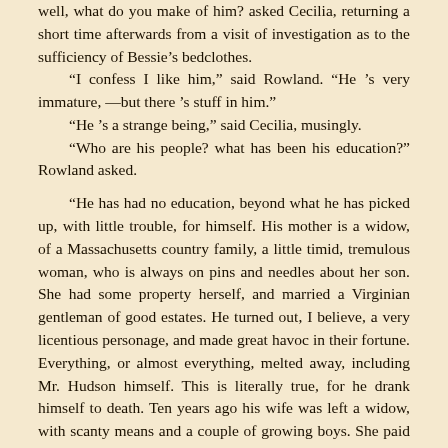Well, what do you make of him? asked Cecilia, returning a short time afterwards from a visit of investigation as to the sufficiency of Bessie's bedclothes.
“I confess I like him,” said Rowland. “He ’s very immature,—but there ’s stuff in him.”
“He ’s a strange being,” said Cecilia, musingly.
“Who are his people? what has been his education?” Rowland asked.
“He has had no education, beyond what he has picked up, with little trouble, for himself. His mother is a widow, of a Massachusetts country family, a little timid, tremulous woman, who is always on pins and needles about her son. She had some property herself, and married a Virginian gentleman of good estates. He turned out, I believe, a very licentious personage, and made great havoc in their fortune. Everything, or almost everything, melted away, including Mr. Hudson himself. This is literally true, for he drank himself to death. Ten years ago his wife was left a widow, with scanty means and a couple of growing boys. She paid her husband’s debts as best she could, and came to establish herself here, where by the death of a charitable relative she had inherited an old-fashioned ruinous house. Roderick, our friend, was her pride and joy, but Stephen, the elder, was her comfort and support. I remember him, later; he was an ugly, sturdy, practical lad, very different from his brother, and in his way, I imagine, a very